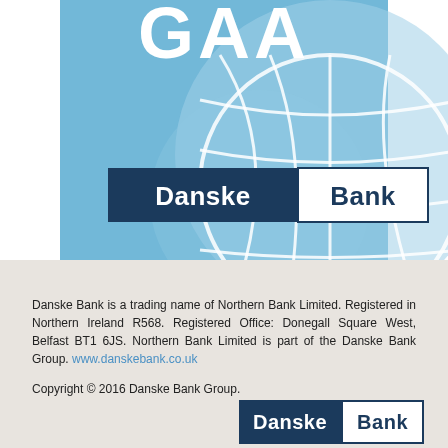[Figure (logo): GAA and Danske Bank co-branded logo on light blue background with GAA ball graphic. Large 'GAA' text at top in white, Danske Bank logo below (dark navy rectangle with 'Danske' in white, and 'Bank' in navy with border).]
Danske Bank is a trading name of Northern Bank Limited. Registered in Northern Ireland R568. Registered Office: Donegall Square West, Belfast BT1 6JS. Northern Bank Limited is part of the Danske Bank Group. www.danskebank.co.uk
Copyright © 2016 Danske Bank Group.
[Figure (logo): Danske Bank logo: dark navy rectangle with 'Danske' in white, adjacent white rectangle with 'Bank' in navy with navy border.]